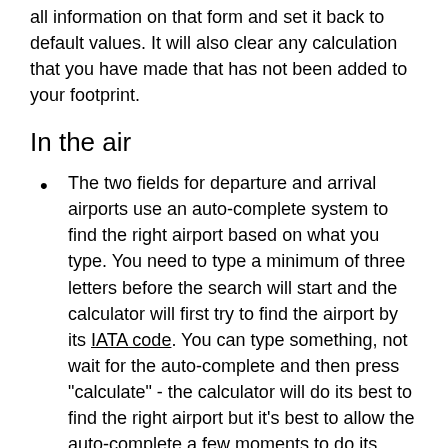all information on that form and set it back to default values. It will also clear any calculation that you have made that has not been added to your footprint.
In the air
The two fields for departure and arrival airports use an auto-complete system to find the right airport based on what you type. You need to type a minimum of three letters before the search will start and the calculator will first try to find the airport by its IATA code. You can type something, not wait for the auto-complete and then press "calculate" - the calculator will do its best to find the right airport but it's best to allow the auto-complete a few moments to do its work.
On the ground